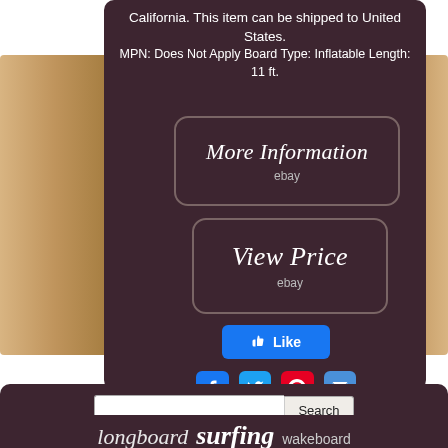California. This item can be shipped to United States.
MPN: Does Not Apply Board Type: Inflatable Length: 11 ft.
[Figure (screenshot): Button styled like a rounded rectangle with dark brown background and border reading 'More Information' in italic white script with 'ebay' below it]
[Figure (screenshot): Button styled like a rounded rectangle with dark brown background and border reading 'View Price' in italic white script with 'ebay' below it]
[Figure (screenshot): Facebook Like button in blue]
[Figure (screenshot): Row of social sharing icons: Facebook, Twitter, Pinterest, Email]
[Figure (screenshot): Search bar with text input and Search button]
longboard   surfing   wakeboard
blue   hydrofoil   stand   surfer